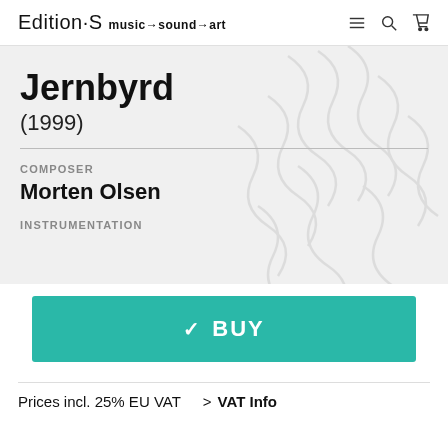Edition·S music→sound→art
Jernbyrd
(1999)
COMPOSER
Morten Olsen
INSTRUMENTATION
✓ BUY
Prices incl. 25% EU VAT > VAT Info